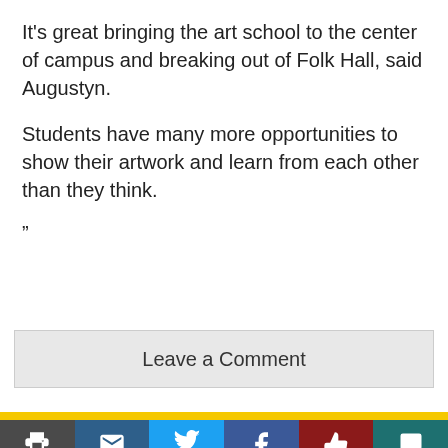It's great bringing the art school to the center of campus and breaking out of Folk Hall, said Augustyn.
Students have many more opportunities to show their artwork and learn from each other than they think.
”
Leave a Comment